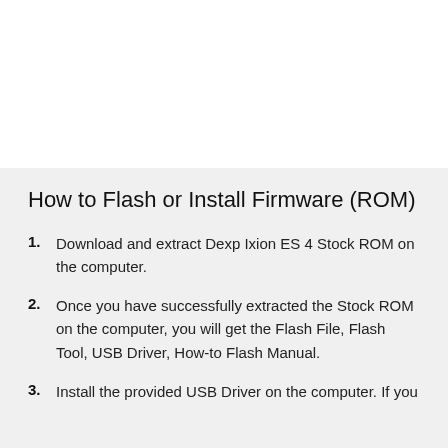How to Flash or Install Firmware (ROM)
Download and extract Dexp Ixion ES 4 Stock ROM on the computer.
Once you have successfully extracted the Stock ROM on the computer, you will get the Flash File, Flash Tool, USB Driver, How-to Flash Manual.
Install the provided USB Driver on the computer. If you